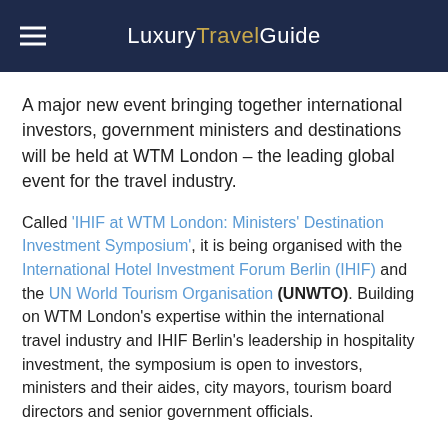LuxuryTravelGuide
A major new event bringing together international investors, government ministers and destinations will be held at WTM London – the leading global event for the travel industry.
Called 'IHIF at WTM London: Ministers' Destination Investment Symposium', it is being organised with the International Hotel Investment Forum Berlin (IHIF) and the UN World Tourism Organisation (UNWTO). Building on WTM London's expertise within the international travel industry and IHIF Berlin's leadership in hospitality investment, the symposium is open to investors, ministers and their aides, city mayors, tourism board directors and senior government officials.